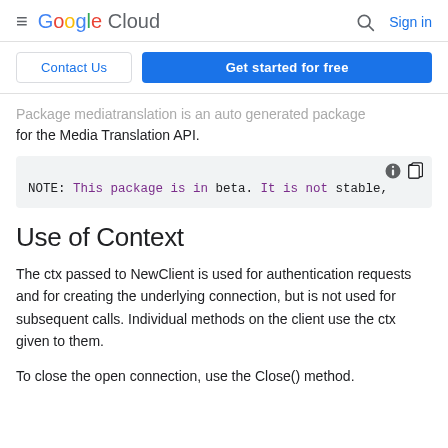≡ Google Cloud  🔍 Sign in
Contact Us   Get started for free
Package mediatranslation is an auto generated package for the Media Translation API.
NOTE: This package is in beta. It is not stable,
Use of Context
The ctx passed to NewClient is used for authentication requests and for creating the underlying connection, but is not used for subsequent calls. Individual methods on the client use the ctx given to them.
To close the open connection, use the Close() method.